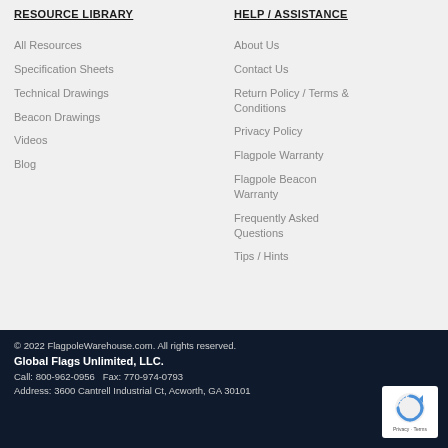RESOURCE LIBRARY
All Resources
Specification Sheets
Technical Drawings
Beacon Drawings
Videos
Blog
HELP / ASSISTANCE
About Us
Contact Us
Return Policy / Terms & Conditions
Privacy Policy
Flagpole Warranty
Flagpole Beacon Warranty
Frequently Asked Questions
Tips / Hints
© 2022 FlagpoleWarehouse.com. All rights reserved. Global Flags Unlimited, LLC. Call: 800-962-0956  Fax: 770-974-0793 Address: 3600 Cantrell Industrial Ct, Acworth, GA 30101